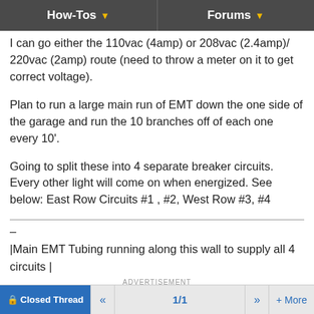How-Tos | Forums
I can go either the 110vac (4amp) or 208vac (2.4amp)/ 220vac (2amp) route (need to throw a meter on it to get correct voltage).
Plan to run a large main run of EMT down the one side of the garage and run the 10 branches off of each one every 10'.
Going to split these into 4 separate breaker circuits. Every other light will come on when energized. See below: East Row Circuits #1 , #2, West Row #3, #4
|Main EMT Tubing running along this wall to supply all 4 circuits |
| |
Closed Thread  <<  1/1  >>  + More